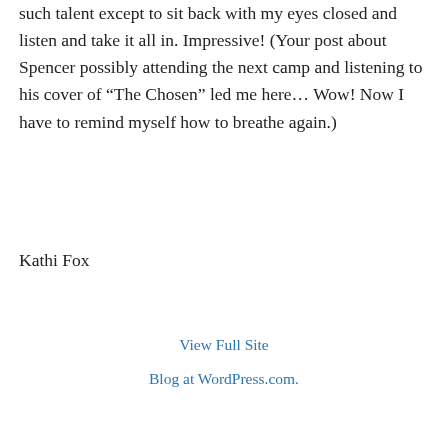such talent except to sit back with my eyes closed and listen and take it all in. Impressive! (Your post about Spencer possibly attending the next camp and listening to his cover of “The Chosen” led me here… Wow! Now I have to remind myself how to breathe again.)
Kathi Fox
↳ Reply
View Full Site
Blog at WordPress.com.